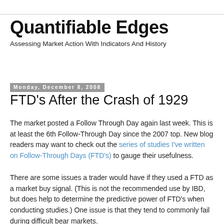Quantifiable Edges
Assessing Market Action With Indicators And History
Monday, December 8, 2008
FTD's After the Crash of 1929
The market posted a Follow Through Day again last week. This is at least the 6th Follow-Through Day since the 2007 top. New blog readers may want to check out the series of studies I've written on Follow-Through Days (FTD's) to gauge their usefulness.
There are some issues a trader would have if they used a FTD as a market buy signal. (This is not the recommended use by IBD, but does help to determine the predictive power of FTD's when conducting studies.) One issue is that they tend to commonly fail during difficult bear markets.